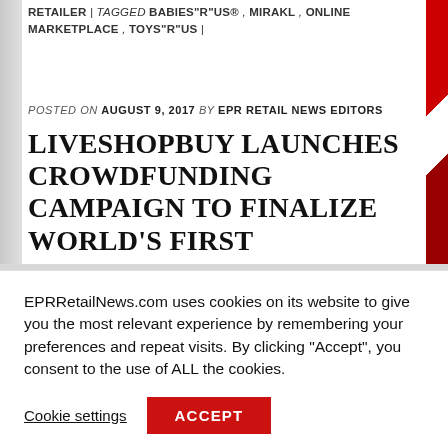RETAILER | TAGGED BABIES"R"US® , MIRAKL , ONLINE MARKETPLACE , TOYS"R"US |
POSTED ON AUGUST 9, 2017 BY EPR RETAIL NEWS EDITORS
LIVESHOPBUY LAUNCHES CROWDFUNDING CAMPAIGN TO FINALIZE WORLD'S FIRST LOCATION-BASED ONLINE MARKETPLACE
EPRRetailNews.com uses cookies on its website to give you the most relevant experience by remembering your preferences and repeat visits. By clicking “Accept”, you consent to the use of ALL the cookies.
Cookie settings  ACCEPT